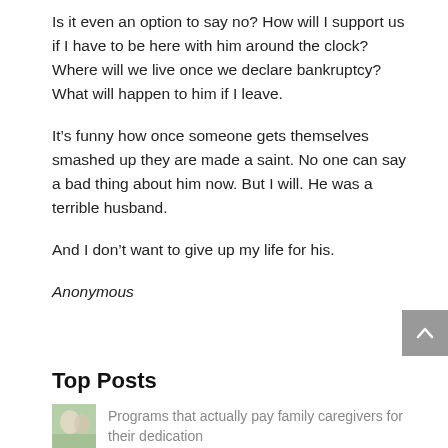Is it even an option to say no? How will I support us if I have to be here with him around the clock? Where will we live once we declare bankruptcy? What will happen to him if I leave.
It’s funny how once someone gets themselves smashed up they are made a saint. No one can say a bad thing about him now. But I will. He was a terrible husband.
And I don’t want to give up my life for his.
Anonymous
Top Posts
Programs that actually pay family caregivers for their dedication
Three lessons from a simple story